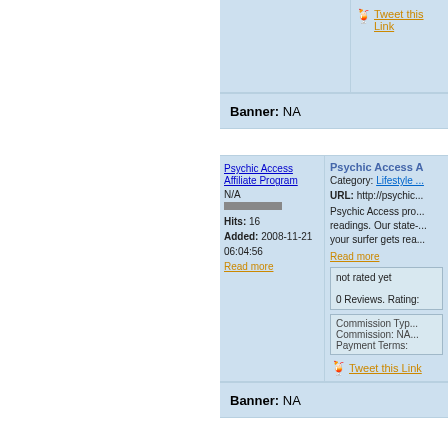Tweet this Link
Banner: NA
[Figure (screenshot): Psychic Access Affiliate Program logo/image placeholder]
N/A
Hits: 16
Added: 2008-11-21 06:04:56
Read more
Psychic Access A...
Category: Lifestyle ...
URL: http://psychic...
Psychic Access pro... readings. Our state-... your surfer gets rea...
Read more
not rated yet
0 Reviews. Rating:
Commission Type:
Commission: NA...
Payment Terms:
Tweet this Link
Banner: NA